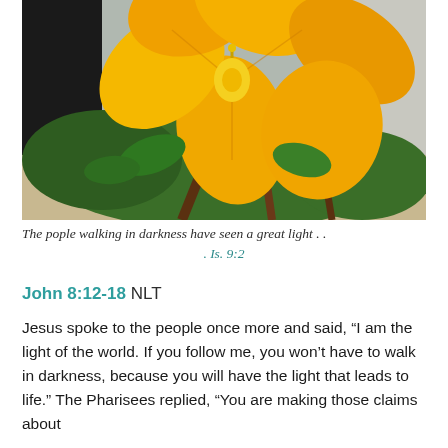[Figure (photo): Close-up photograph of a large yellow/orange hibiscus flower in bloom, with green leaves and brown branches visible in the background, outdoor setting]
The pople walking in darkness have seen a great light . .
. Is. 9:2
John 8:12-18 NLT
Jesus spoke to the people once more and said, “I am the light of the world. If you follow me, you won’t have to walk in darkness, because you will have the light that leads to life.” The Pharisees replied, “You are making those claims about